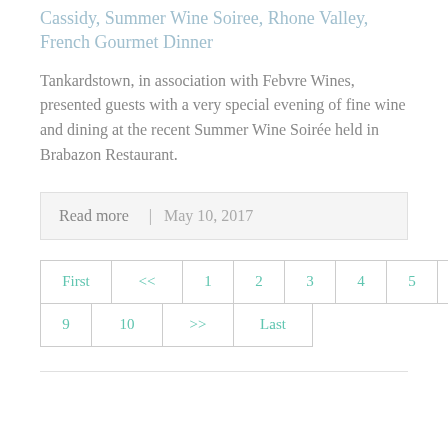Cassidy, Summer Wine Soiree, Rhone Valley, French Gourmet Dinner
Tankardstown, in association with Febvre Wines, presented guests with a very special evening of fine wine and dining at the recent Summer Wine Soirée held in Brabazon Restaurant.
Read more   | May 10, 2017
First
<<
1
2
3
4
5
6
7
8
9
10
>>
Last